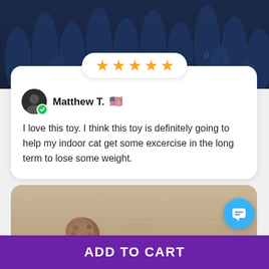[Figure (photo): Close-up photo of dark blue textured product (cat toy), finger-like protrusions visible]
[Figure (infographic): Five gold/orange star rating in a white pill-shaped badge]
Matthew T. 🇺🇸
I love this toy. I think this toy is definitely going to help my indoor cat get some excercise in the long term to lose some weight.
[Figure (photo): Photo of a brown cat toy/ball on a beige surface, viewed from above]
ADD TO CART